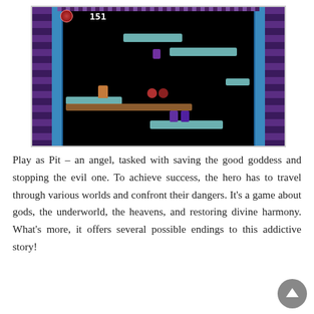[Figure (screenshot): A retro NES-style video game screenshot showing a dark platformer level with purple brick walls, blue column pillars, a player character, enemies, and platforms. HUD shows score 151.]
Play as Pit – an angel, tasked with saving the good goddess and stopping the evil one. To achieve success, the hero has to travel through various worlds and confront their dangers. It's a game about gods, the underworld, the heavens, and restoring divine harmony. What's more, it offers several possible endings to this addictive story!